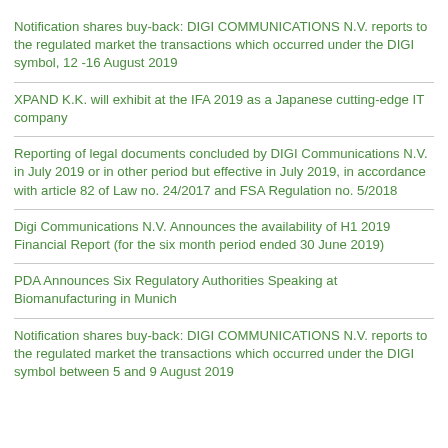Notification shares buy-back: DIGI COMMUNICATIONS N.V. reports to the regulated market the transactions which occurred under the DIGI symbol, 12 -16 August 2019
XPAND K.K. will exhibit at the IFA 2019 as a Japanese cutting-edge IT company
Reporting of legal documents concluded by DIGI Communications N.V. in July 2019 or in other period but effective in July 2019, in accordance with article 82 of Law no. 24/2017 and FSA Regulation no. 5/2018
Digi Communications N.V. Announces the availability of H1 2019 Financial Report (for the six month period ended 30 June 2019)
PDA Announces Six Regulatory Authorities Speaking at Biomanufacturing in Munich
Notification shares buy-back: DIGI COMMUNICATIONS N.V. reports to the regulated market the transactions which occurred under the DIGI symbol between 5 and 9 August 2019